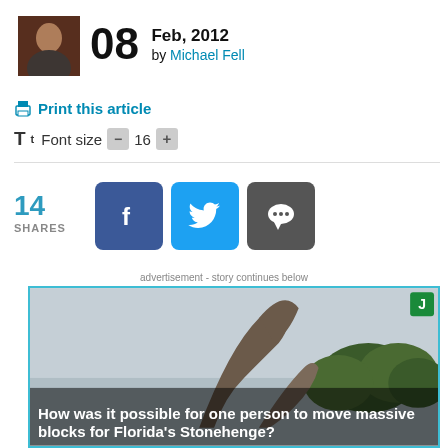[Figure (photo): Headshot of author Michael Fell]
08 Feb, 2012 by Michael Fell
Print this article
Font size  -  16  +
14 SHARES
[Figure (infographic): Social share buttons: Facebook (f), Twitter (bird), Comment (speech bubble)]
advertisement - story continues below
[Figure (photo): Image of dinosaur-like stone sculpture (Coral Castle/Florida Stonehenge) with trees in background and overlay text: How was it possible for one person to move massive blocks for Florida's Stonehenge?]